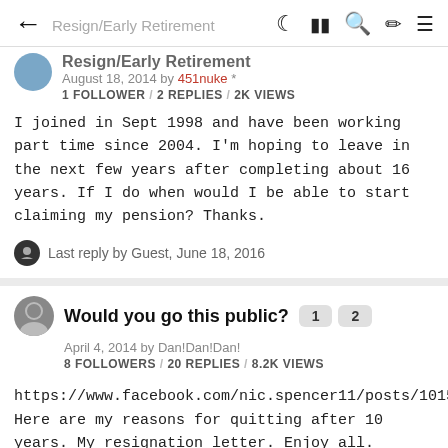← Resign/Early Retirement [dark mode] [grid] [search] [edit] [menu]
Resign/Early Retirement
August 18, 2014 by 451nuke *
1 FOLLOWER / 2 REPLIES / 2K VIEWS
I joined in Sept 1998 and have been working part time since 2004. I'm hoping to leave in the next few years after completing about 16 years. If I do when would I be able to start claiming my pension? Thanks.
Last reply by Guest, June 18, 2016
Would you go this public?  1  2
April 4, 2014 by Dan!Dan!Dan!
8 FOLLOWERS / 20 REPLIES / 8.2K VIEWS
https://www.facebook.com/nic.spencer11/posts/10152008158347322 Here are my reasons for quitting after 10 years. My resignation letter. Enjoy all. Share, like, disagree, comment. Whatever you want! Nicola Sargant A/Detective Sergeant Eltha...
Last reply by rogerthepoliceman, June 18, 2016